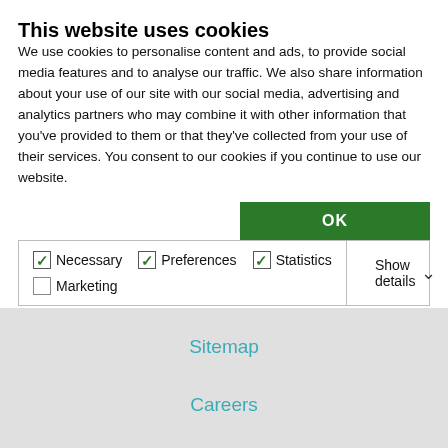This website uses cookies
We use cookies to personalise content and ads, to provide social media features and to analyse our traffic. We also share information about your use of our site with our social media, advertising and analytics partners who may combine it with other information that you've provided to them or that they've collected from your use of their services. You consent to our cookies if you continue to use our website.
OK
| Necessary | Preferences | Statistics | Show details |
| Marketing |  |  |  |
Sitemap
Careers
Privacy Policy
Independent Publishers Group
814 N. Franklin St.
Chicago, IL